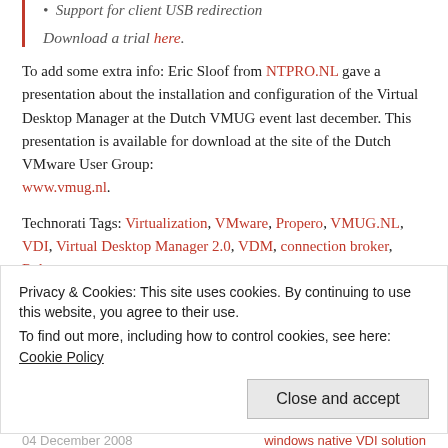Support for client USB redirection
Download a trial here.
To add some extra info: Eric Sloof from NTPRO.NL gave a presentation about the installation and configuration of the Virtual Desktop Manager at the Dutch VMUG event last december. This presentation is available for download at the site of the Dutch VMware User Group: www.vmug.nl.
Technorati Tags: Virtualization, VMware, Propero, VMUG.NL, VDI, Virtual Desktop Manager 2.0, VDM, connection broker, Release
Share this:
Privacy & Cookies: This site uses cookies. By continuing to use this website, you agree to their use.
To find out more, including how to control cookies, see here: Cookie Policy
04 December 2008 | windows native VDI solution